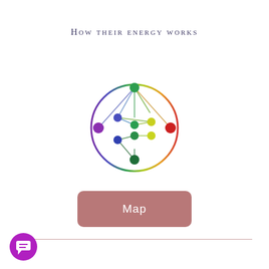How their energy works
[Figure (network-graph): A circular network diagram with gradient coloring from purple/blue on the left through green at top, yellow-green on right, and red on the far right. Multiple nodes connected by lines within and around a circle, resembling a stylized molecular or energy network map.]
Map